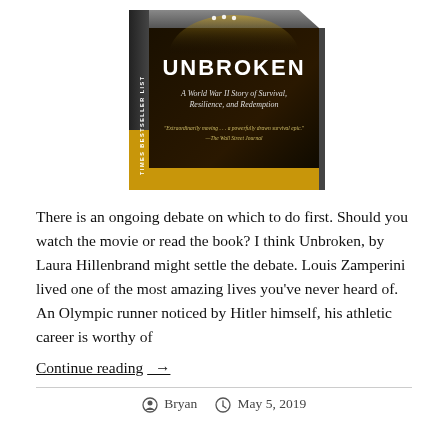[Figure (photo): Book cover of 'Unbroken: A World War II Story of Survival, Resilience, and Redemption' — a dark cover with gold text, showing a New York Times Bestseller List banner on the spine. Quote from The Wall Street Journal: 'Extraordinarily moving...a powerfully drawn survival epic.']
There is an ongoing debate on which to do first. Should you watch the movie or read the book? I think Unbroken, by Laura Hillenbrand might settle the debate. Louis Zamperini lived one of the most amazing lives you've never heard of. An Olympic runner noticed by Hitler himself, his athletic career is worthy of
Continue reading  →
Bryan   May 5, 2019